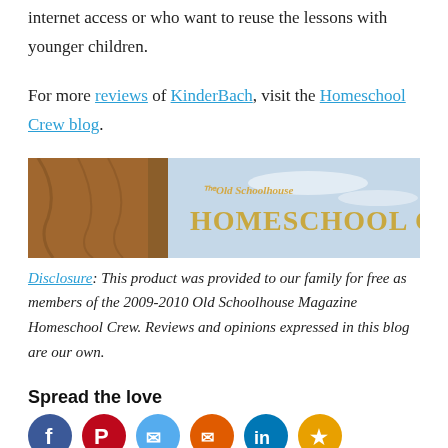internet access or who want to reuse the lessons with younger children.
For more reviews of KinderBach, visit the Homeschool Crew blog.
[Figure (photo): The Old Schoolhouse Homeschool Crew banner image with wooden railing and sky background]
Disclosure: This product was provided to our family for free as members of the 2009-2010 Old Schoolhouse Magazine Homeschool Crew. Reviews and opinions expressed in this blog are our own.
Spread the love
[Figure (infographic): Social media sharing icons: Facebook (blue), Pinterest (red), Twitter/share (light blue), share/email (orange), LinkedIn (blue), and one more (orange)]